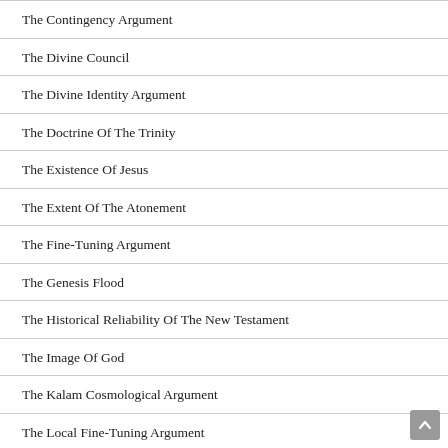The Contingency Argument
The Divine Council
The Divine Identity Argument
The Doctrine Of The Trinity
The Existence Of Jesus
The Extent Of The Atonement
The Fine-Tuning Argument
The Genesis Flood
The Historical Reliability Of The New Testament
The Image Of God
The Kalam Cosmological Argument
The Local Fine-Tuning Argument
The Maximally Great Argument Against Calvinism